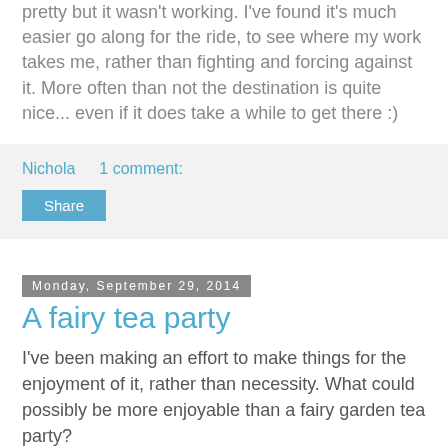pretty but it wasn't working. I've found it's much easier go along for the ride, to see where my work takes me, rather than fighting and forcing against it. More often than not the destination is quite nice... even if it does take a while to get there :)
Nichola    1 comment:
Share
Monday, September 29, 2014
A fairy tea party
I've been making an effort to make things for the enjoyment of it, rather than necessity. What could possibly be more enjoyable than a fairy garden tea party?
[Figure (photo): Photo of teapots and tea party items on a white surface]